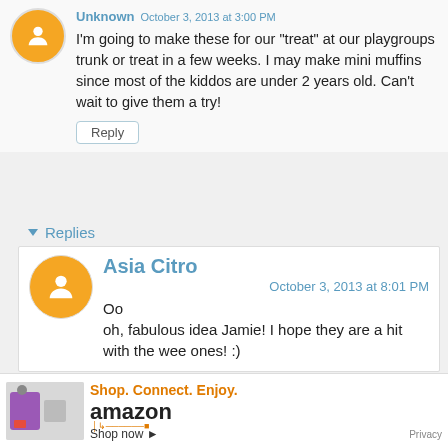Unknown October 3, 2013 at 3:00 PM
I'm going to make these for our "treat" at our playgroups trunk or treat in a few weeks. I may make mini muffins since most of the kiddos are under 2 years old. Can't wait to give them a try!
Reply
▼ Replies
Asia Citro
October 3, 2013 at 8:01 PM
Oo
oh, fabulous idea Jamie! I hope they are a hit with the wee ones! :)
Reply
[Figure (infographic): Amazon advertisement banner: Shop. Connect. Enjoy. amazon Shop now with smile logo and Privacy text]